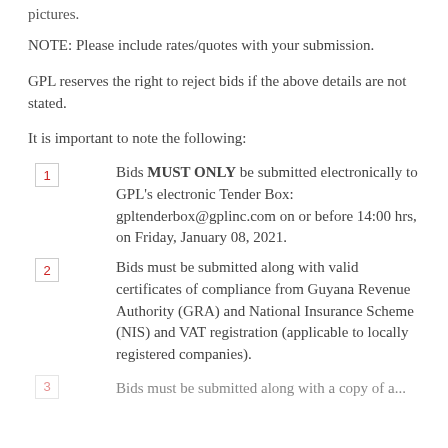pictures.
NOTE: Please include rates/quotes with your submission.
GPL reserves the right to reject bids if the above details are not stated.
It is important to note the following:
Bids MUST ONLY be submitted electronically to GPL's electronic Tender Box: gpltenderbox@gplinc.com on or before 14:00 hrs, on Friday, January 08, 2021.
Bids must be submitted along with valid certificates of compliance from Guyana Revenue Authority (GRA) and National Insurance Scheme (NIS) and VAT registration (applicable to locally registered companies).
[truncated]